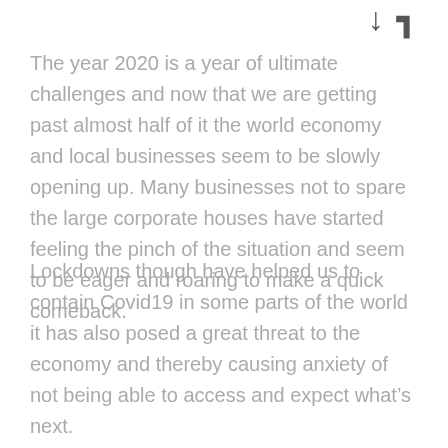The year 2020 is a year of ultimate challenges and now that we are getting past almost half of it the world economy and local businesses seem to be slowly opening up. Many businesses not to spare the large corporate houses have started feeling the pinch of the situation and seem to be eager and roaring to make a quick comeback.
Lockdowns though have helped us to contain Covid19 in some parts of the world it has also posed a great threat to the economy and thereby causing anxiety of not being able to access and expect what’s next.